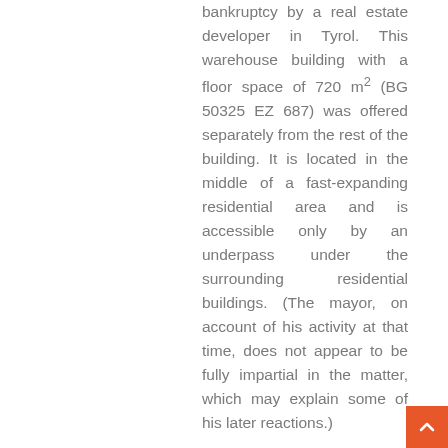bankruptcy by a real estate developer in Tyrol. This warehouse building with a floor space of 720 m² (BG 50325 EZ 687) was offered separately from the rest of the building. It is located in the middle of a fast-expanding residential area and is accessible only by an underpass under the surrounding residential buildings. (The mayor, on account of his activity at that time, does not appear to be fully impartial in the matter, which may explain some of his later reactions.)
By purchase contract dated 25 February 2009 [7], the association bought this warehouse including a total area of 720 m², apparently without first clarifying the rights of use as this is habitually done [8]. As it is unlikely that this important fact